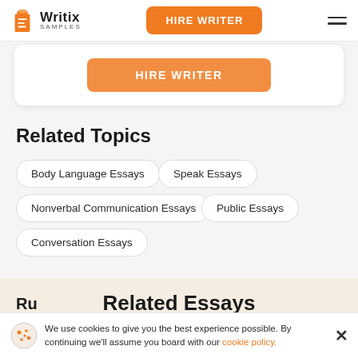Writix SAMPLES — HIRE WRITER
[Figure (screenshot): Orange HIRE WRITER button inside a white card]
Related Topics
Body Language Essays
Speak Essays
Nonverbal Communication Essays
Public Essays
Conversation Essays
Related Essays
We use cookies to give you the best experience possible. By continuing we'll assume you board with our cookie policy.